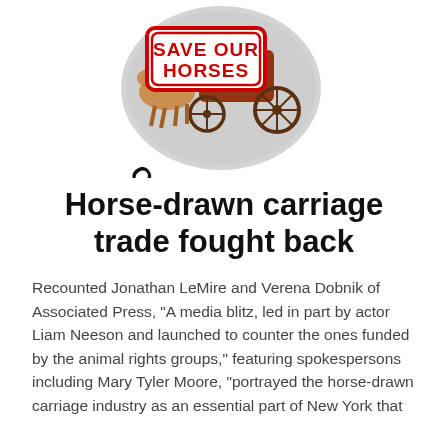[Figure (logo): Save Our Horses Campaign logo — circular emblem with horse-drawn carriage, red stamp reading SAVE OUR HORSES, and bold arched text CAMPAIGN below]
Horse-drawn carriage trade fought back
Recounted Jonathan LeMire and Verena Dobnik of Associated Press,  "A media blitz,  led in part by actor Liam Neeson and launched to counter the ones funded by the animal rights groups,"  featuring spokespersons including Mary Tyler Moore,  "portrayed the horse-drawn carriage industry as an essential part of New York that